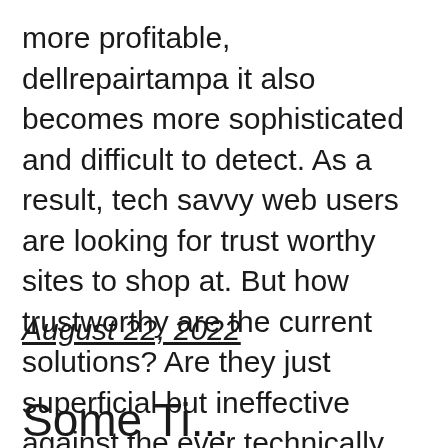more profitable, dellrepairtampa it also becomes more sophisticated and difficult to detect. As a result, tech savvy web users are looking for trust worthy sites to shop at. But how trustworthy are the current solutions? Are they just superficial but ineffective against the ever technically improving [...]
August 22, 2022
Some Ti...